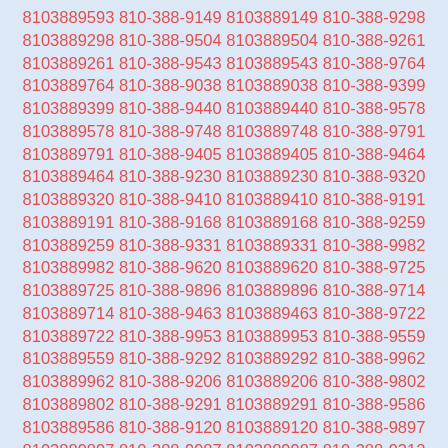8103889593 810-388-9149 8103889149 810-388-9298 8103889298 810-388-9504 8103889504 810-388-9261 8103889261 810-388-9543 8103889543 810-388-9764 8103889764 810-388-9038 8103889038 810-388-9399 8103889399 810-388-9440 8103889440 810-388-9578 8103889578 810-388-9748 8103889748 810-388-9791 8103889791 810-388-9405 8103889405 810-388-9464 8103889464 810-388-9230 8103889230 810-388-9320 8103889320 810-388-9410 8103889410 810-388-9191 8103889191 810-388-9168 8103889168 810-388-9259 8103889259 810-388-9331 8103889331 810-388-9982 8103889982 810-388-9620 8103889620 810-388-9725 8103889725 810-388-9896 8103889896 810-388-9714 8103889714 810-388-9463 8103889463 810-388-9722 8103889722 810-388-9953 8103889953 810-388-9559 8103889559 810-388-9292 8103889292 810-388-9962 8103889962 810-388-9206 8103889206 810-388-9802 8103889802 810-388-9291 8103889291 810-388-9586 8103889586 810-388-9120 8103889120 810-388-9897 8103889897 810-388-9987 8103889987 810-388-9312 8103889312 810-388-9140 8103889140 810-388-9572 8103889572 810-388-9097 8103889097 810-388-